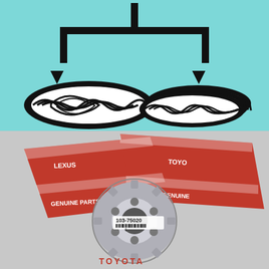[Figure (schematic): Engineering schematic on teal/cyan background showing a branching arrow diagram: one downward arrow splits into two downward arrows pointing at two gear/sprocket illustrations side by side. Left item is a single gear/sprocket viewed from top, right item shows a stack of multiple gears/sprockets.]
[Figure (photo): Photograph of a Toyota/Lexus genuine parts sprocket/gear with part number 103-75020 on label, placed on top of red Toyota/Lexus OEM packaging boxes on a grey surface.]